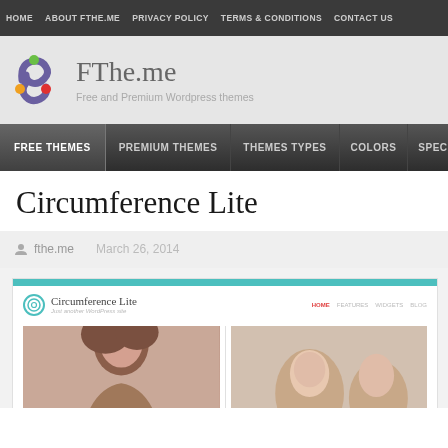HOME  ABOUT FTHE.ME  PRIVACY POLICY  TERMS & CONDITIONS  CONTACT US
[Figure (logo): FThe.me logo with colorful circular icon and site title 'FThe.me — Free and Premium Wordpress themes']
FREE THEMES  PREMIUM THEMES  THEMES TYPES  COLORS  SPECIFIC
Circumference Lite
fthe.me    March 26, 2014
[Figure (screenshot): Screenshot of Circumference Lite WordPress theme showing teal header bar, site logo, navigation links (HOME, FEATURES, WIDGETS, BLOG), and two partial person/people photos below]